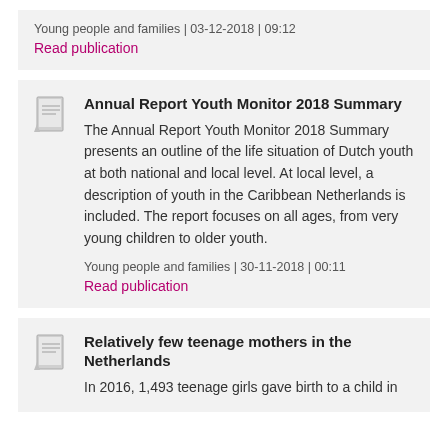Young people and families | 03-12-2018 | 09:12
Read publication
Annual Report Youth Monitor 2018 Summary
The Annual Report Youth Monitor 2018 Summary presents an outline of the life situation of Dutch youth at both national and local level. At local level, a description of youth in the Caribbean Netherlands is included. The report focuses on all ages, from very young children to older youth.
Young people and families | 30-11-2018 | 00:11
Read publication
Relatively few teenage mothers in the Netherlands
In 2016, 1,493 teenage girls gave birth to a child in